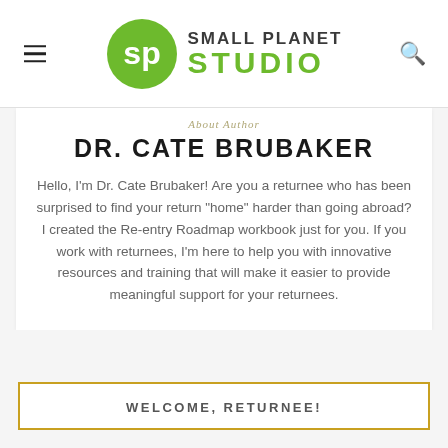Small Planet Studio
About Author
DR. CATE BRUBAKER
Hello, I'm Dr. Cate Brubaker! Are you a returnee who has been surprised to find your return "home" harder than going abroad? I created the Re-entry Roadmap workbook just for you. If you work with returnees, I'm here to help you with innovative resources and training that will make it easier to provide meaningful support for your returnees.
WELCOME, RETURNEE!